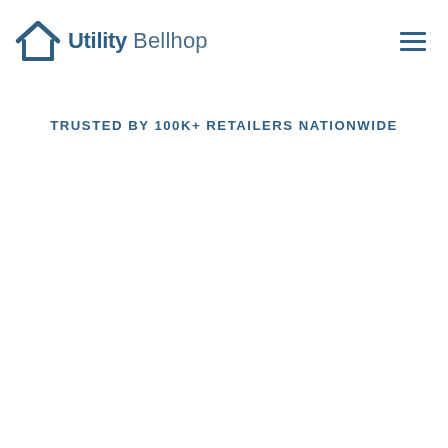[Figure (logo): Utility Bellhop logo: a house/roof icon in dark blue followed by 'Utility' in bold dark blue and 'Bellhop' in light weight dark blue]
TRUSTED BY 100K+ RETAILERS NATIONWIDE